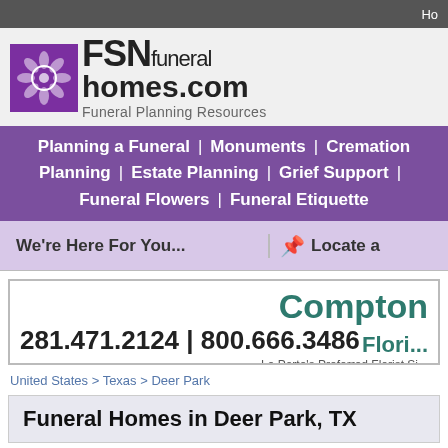Ho
[Figure (logo): FSN Funeral Homes.com logo with purple floral icon and tagline Funeral Planning Resources]
Planning a Funeral | Monuments | Cremation Planning | Estate Planning | Grief Support | Funeral Flowers | Funeral Etiquette
We're Here For You...
Locate a
[Figure (screenshot): Compton Flori... advertisement banner with phone numbers 281.471.2124 | 800.666.3486 and tagline La Porte's Preferred Florist Si...]
United States > Texas > Deer Park
Funeral Homes in Deer Park, TX
Is there a difference between a funeral home and a mortuary? Not really, both coast the term funeral home is predominantly used, while on the West coast m